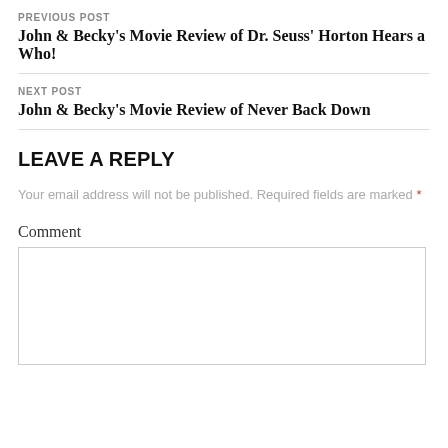PREVIOUS POST
John & Becky's Movie Review of Dr. Seuss' Horton Hears a Who!
NEXT POST
John & Becky's Movie Review of Never Back Down
LEAVE A REPLY
Your email address will not be published. Required fields are marked *
Comment